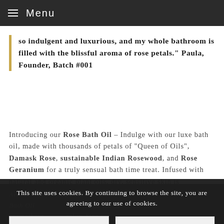≡ Menu
so indulgent and luxurious, and my whole bathroom is filled with the blissful aroma of rose petals." Paula, Founder, Batch #001
Introducing our Rose Bath Oil – Indulge with our luxe bath oil, made with thousands of petals of "Queen of Oils", Damask Rose, sustainable Indian Rosewood, and Rose Geranium for a truly sensual bath time treat. Infused with natural and organic plant oils, dry, sensitive skin is replenished, nourished, and left feeling silky smooth.
Also designed to be used as shower drops – Bath Oil ... aromathera... relax. Step out with beaut... d ... the ultimate luxe bath time experience.
This site uses cookies. By continuing to browse the site, you are agreeing to our use of cookies.
Accept settings
Settings